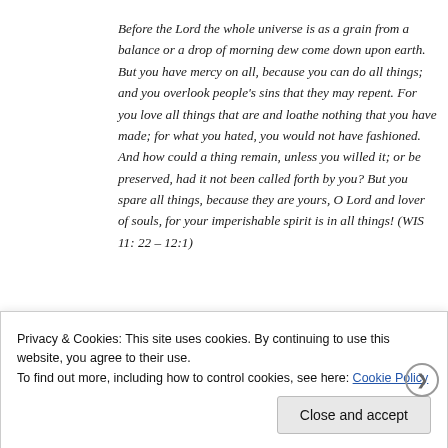Before the Lord the whole universe is as a grain from a balance or a drop of morning dew come down upon earth. But you have mercy on all, because you can do all things; and you overlook people's sins that they may repent. For you love all things that are and loathe nothing that you have made; for what you hated, you would not have fashioned. And how could a thing remain, unless you willed it; or be preserved, had it not been called forth by you? But you spare all things, because they are yours, O Lord and lover of souls, for your imperishable spirit is in all things! (WIS 11: 22 – 12:1)
Privacy & Cookies: This site uses cookies. By continuing to use this website, you agree to their use.
To find out more, including how to control cookies, see here: Cookie Policy